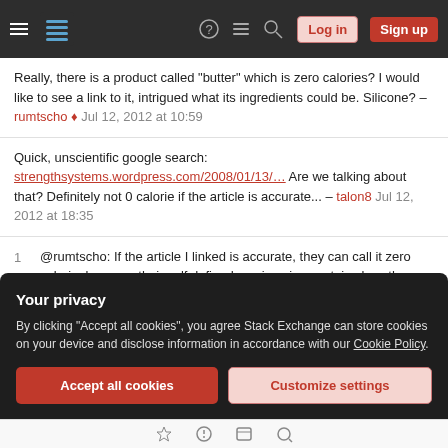Stack Exchange navigation bar with hamburger menu, logo, help, chat, search icons, Log in and Sign up buttons
Really, there is a product called "butter" which is zero calories? I would like to see a link to it, intrigued what its ingredients could be. Silicone? – rumtscho ♦ Jul 12, 2012 at 10:59
Quick, unscientific google search: strengthsystems.wordpress.com/2008/01/13/... Are we talking about that? Definitely not 0 calorie if the article is accurate... – talon8 Jul 12, 2012 at 18:35
@rumtscho: If the article I linked is accurate, they can call it zero calorie, because their self defined serving size contains less than some semi-arbitrary amount of calories. – talon8 Jul 12, 2012 at 18:42
Your privacy
By clicking "Accept all cookies", you agree Stack Exchange can store cookies on your device and disclose information in accordance with our Cookie Policy.
Accept all cookies | Customize settings